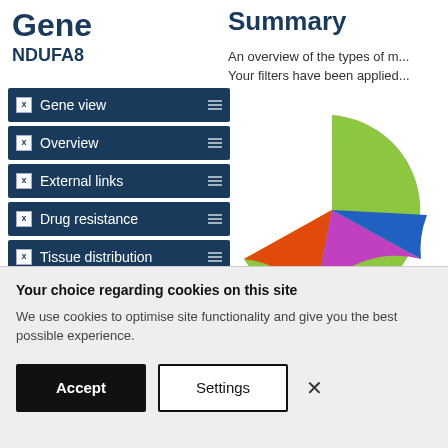Gene
NDUFA8
Gene view
Overview
External links
Drug resistance
Tissue distribution
Genome browser
Mutation distribution
Summary
An overview of the types of m... Your filters have been applied...
[Figure (pie-chart): Mutation types summary]
Your choice regarding cookies on this site
We use cookies to optimise site functionality and give you the best possible experience.
Accept
Settings